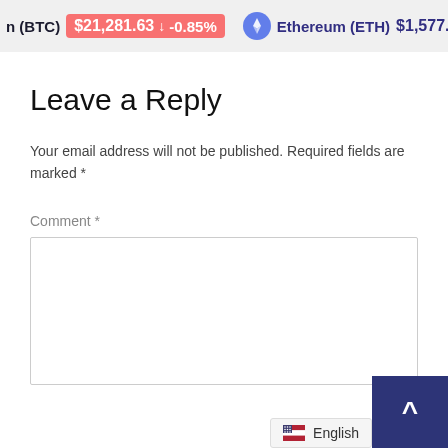n (BTC) $21,281.63 ↓ -0.85% Ethereum (ETH) $1,577.73
Leave a Reply
Your email address will not be published. Required fields are marked *
Comment *
[Figure (other): Empty comment text area input box]
[Figure (screenshot): English language selector with US flag]
[Figure (other): Dark blue back-to-top button with upward arrow]